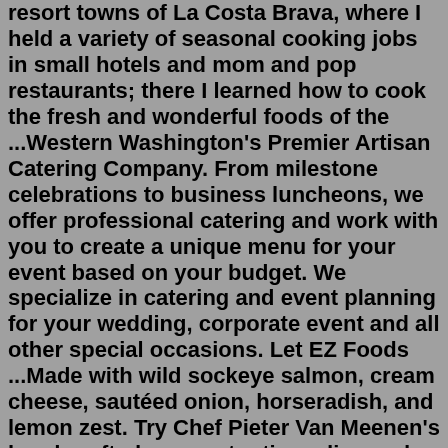resort towns of La Costa Brava, where I held a variety of seasonal cooking jobs in small hotels and mom and pop restaurants; there I learned how to cook the fresh and wonderful foods of the ...Western Washington's Premier Artisan Catering Company. From milestone celebrations to business luncheons, we offer professional catering and work with you to create a unique menu for your event based on your budget. We specialize in catering and event planning for your wedding, corporate event and all other special occasions. Let EZ Foods ...Made with wild sockeye salmon, cream cheese, sautéed onion, horseradish, and lemon zest. Try Chef Pieter Van Meenen's hand-crafted gourmet artisan dips and spreads. Our award-winning line of dips is locally made in Langley, British Columbia. Chef Pieter uses only the freshest and finest quality ingredients, sourced locally and organic ...About Us. the laughing artisan is a boutique catering company that creates exquisite, rustic sandwich boards for any occasion. Our audacious flavors and whimsical styling extend